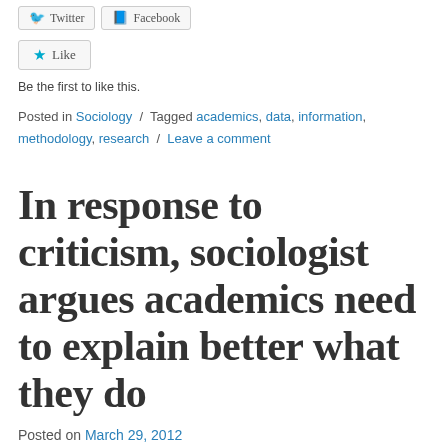[Figure (other): Twitter and Facebook share buttons]
[Figure (other): Like button with star icon]
Be the first to like this.
Posted in Sociology / Tagged academics, data, information, methodology, research / Leave a comment
In response to criticism, sociologist argues academics need to explain better what they do
Posted on March 29, 2012